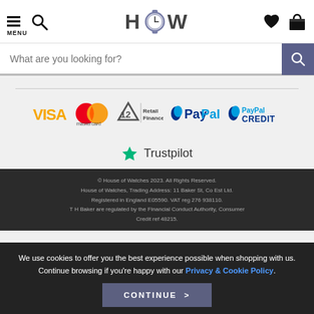HOW (House of Watches) - Menu, Search, Wishlist, Bag
What are you looking for?
[Figure (logo): Payment method logos: VISA, Mastercard, V12 Retail Finance, PayPal, PayPal Credit]
[Figure (logo): Trustpilot logo with green star]
© House of Watches 2023. All Rights Reserved. House of Watches, Trading Address: 11 Baker St, Co Est Ltd. Registered in England E05590. VAT reg 276 938110. T H Baker are regulated by the Financial Conduct Authority, Consumer Credit ref 48215.
We use cookies to offer you the best experience possible when shopping with us. Continue browsing if you're happy with our Privacy & Cookie Policy.